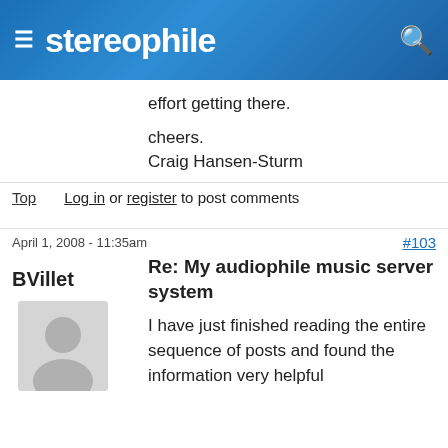stereophile
effort getting there.

cheers.
Craig Hansen-Sturm
Top   Log in or register to post comments
April 1, 2008 - 11:35am   #103
BVillet
Re: My audiophile music server system
I have just finished reading the entire sequence of posts and found the information very helpful
Offline